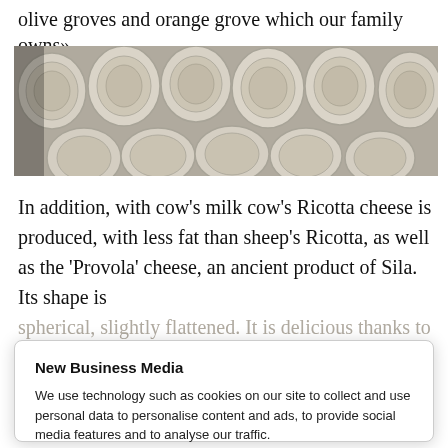olive groves and orange grove which our family owns».
[Figure (photo): Rows of cylindrical ricotta or fresh cheese molds packed together, viewed from above, light cream/beige color with basket-weave texture impressions.]
In addition, with cow's milk cow's Ricotta cheese is produced, with less fat than sheep's Ricotta, as well as the 'Provola' cheese, an ancient product of Sila. Its shape is spherical, slightly flattened. It is delicious thanks to its
New Business Media
We use technology such as cookies on our site to collect and use personal data to personalise content and ads, to provide social media features and to analyse our traffic.
Do Not Sell My Data
Agree and proceed
Powered by 🛡niConsent